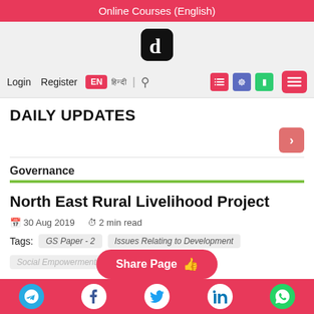Online Courses (English)
[Figure (logo): Dark rounded square logo with letter 'd' in white]
DAILY UPDATES
Governance
North East Rural Livelihood Project
30 Aug 2019   2 min read
Tags: GS Paper - 2   Issues Relating to Development
Social Empowerment   Interventions
Share Page